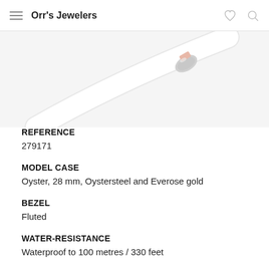Orr's Jewelers
[Figure (photo): Close-up product photo of a white Rolex watch bracelet/strap with a silver and rose gold clasp detail]
REFERENCE
279171
MODEL CASE
Oyster, 28 mm, Oystersteel and Everose gold
BEZEL
Fluted
WATER-RESISTANCE
Waterproof to 100 metres / 330 feet